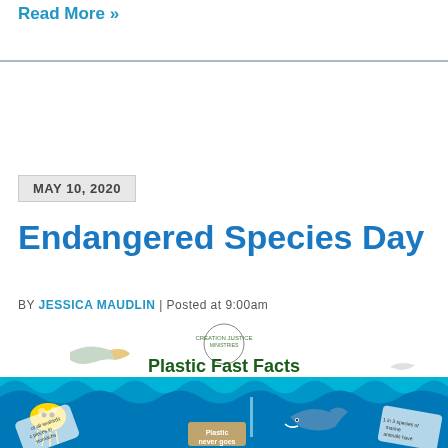Read More »
MAY 10, 2020
Endangered Species Day
BY JESSICA MAUDLIN | Posted at 9:00am
[Figure (infographic): Plastic Fast Facts infographic with ocean waves, seabirds, jellyfish, dolphin, and plastic items with text about plastic pollution statistics]